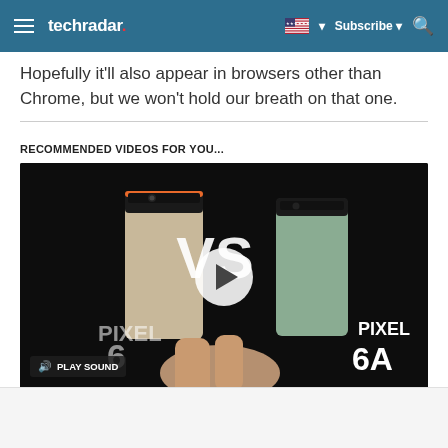techradar | Subscribe | Search
Hopefully it'll also appear in browsers other than Chrome, but we won't hold our breath on that one.
RECOMMENDED VIDEOS FOR YOU...
[Figure (screenshot): Video player showing Pixel 6 vs Pixel 6A comparison video with play button overlay and PLAY SOUND button. Dark background with two smartphones displayed side by side with 'VS' text in the middle.]